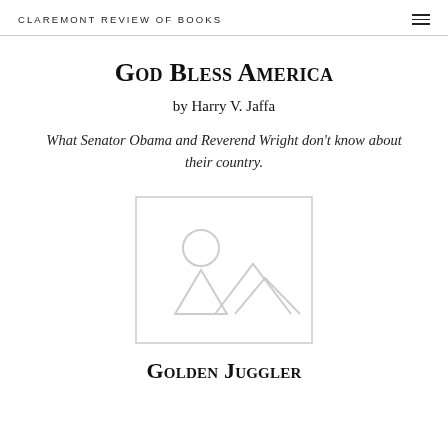CLAREMONT REVIEW OF BOOKS
God Bless America
by Harry V. Jaffa
What Senator Obama and Reverend Wright don't know about their country.
[Figure (photo): Placeholder image with person and landscape silhouette icons]
Golden Juggler